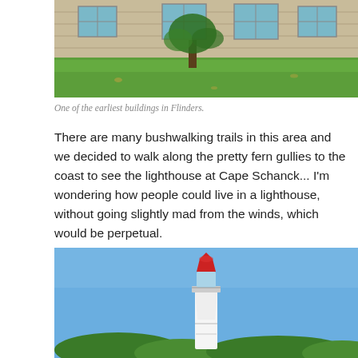[Figure (photo): Outdoor scene showing a historic stone building with green lawn and a tree in front, partially cropped at top. One of the earliest buildings in Flinders.]
One of the earliest buildings in Flinders.
There are many bushwalking trails in this area and we decided to walk along the pretty fern gullies to the coast to see the lighthouse at Cape Schanck... I'm wondering how people could live in a lighthouse, without going slightly mad from the winds, which would be perpetual.
[Figure (photo): A white lighthouse with a red top cap against a clear blue sky, surrounded by green trees at the base. Cape Schanck lighthouse.]